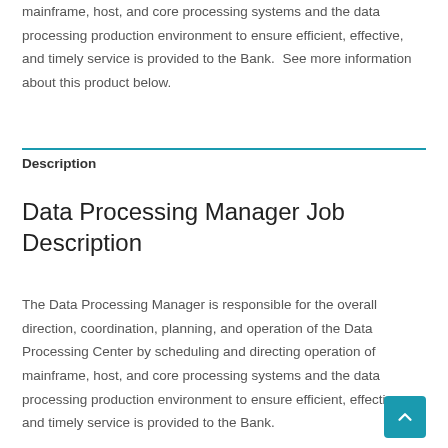mainframe, host, and core processing systems and the data processing production environment to ensure efficient, effective, and timely service is provided to the Bank.  See more information about this product below.
Description
Data Processing Manager Job Description
The Data Processing Manager is responsible for the overall direction, coordination, planning, and operation of the Data Processing Center by scheduling and directing operation of mainframe, host, and core processing systems and the data processing production environment to ensure efficient, effective, and timely service is provided to the Bank.